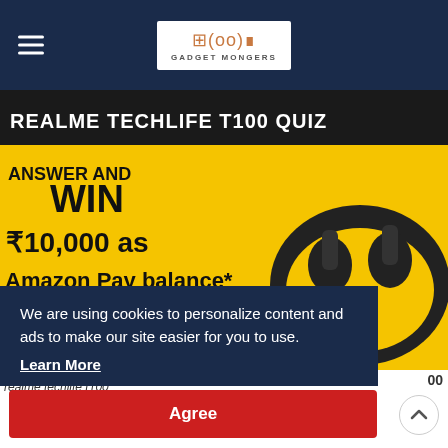[Figure (screenshot): Website navigation bar with hamburger menu on left and Gadget Mongers logo centered on dark navy background]
[Figure (photo): Realme TechLife T100 Quiz promotional banner on Amazon. Yellow and black background showing TWS earbuds. Text: REALME TECHLIFE T100 QUIZ, ANSWER AND WIN ₹10,000 as Amazon Pay balance*, PLAY NOW button, T&C apply]
We are using cookies to personalize content and ads to make our site easier for you to use.
Learn More
Agree
00
realme techlife t100